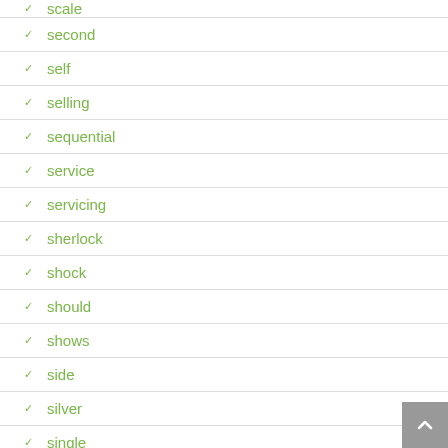scale
second
self
selling
sequential
service
servicing
sherlock
shock
should
shows
side
silver
single
single-layer